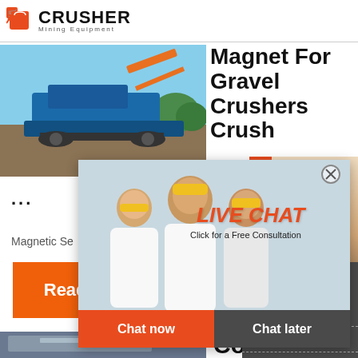[Figure (logo): Crusher Mining Equipment logo with red shopping bag icon and bold CRUSHER text]
[Figure (photo): Blue mobile mining crusher machine on tracks in outdoor setting]
Magnet For Gravel Crushers Crush
24Hrs Online
...
Magnetic Se
[Figure (photo): Live Chat overlay with workers in hard hats and customer service representative]
LIVE CHAT
Click for a Free Consultation
Chat now
Chat later
Read More
Need questions & suggestion?
Chat Now
Enquiry
limingjlmofen@sina.com
[Figure (photo): Mining conveyor equipment photo at bottom]
Cone